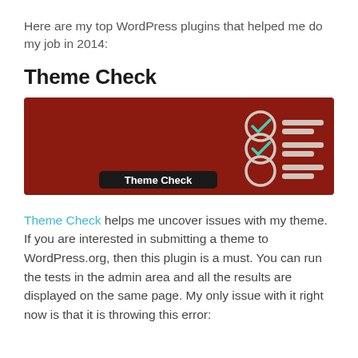Here are my top WordPress plugins that helped me do my job in 2014:
Theme Check
[Figure (screenshot): Banner image for the Theme Check WordPress plugin — dark red background with a logo showing three checklist items (two checked with teal checkmarks, one unchecked circle) alongside horizontal lines, and a black label reading 'Theme Check' in the lower left.]
Theme Check helps me uncover issues with my theme. If you are interested in submitting a theme to WordPress.org, then this plugin is a must. You can run the tests in the admin area and all the results are displayed on the same page. My only issue with it right now is that it is throwing this error: